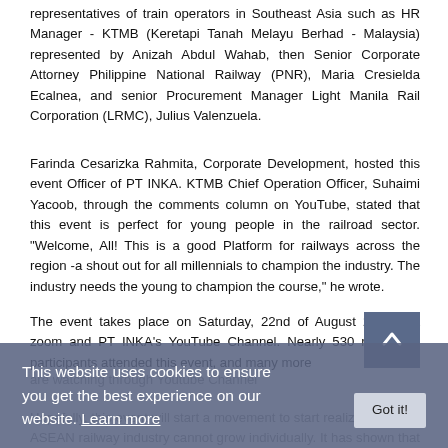representatives of train operators in Southeast Asia such as HR Manager - KTMB (Keretapi Tanah Melayu Berhad - Malaysia) represented by Anizah Abdul Wahab, then Senior Corporate Attorney Philippine National Railway (PNR), Maria Cresielda Ecalnea, and senior Procurement Manager Light Manila Rail Corporation (LRMC), Julius Valenzuela.
Farinda Cesarizka Rahmita, Corporate Development, hosted this event Officer of PT INKA. KTMB Chief Operation Officer, Suhaimi Yacoob, through the comments column on YouTube, stated that this event is perfect for young people in the railroad sector. "Welcome, All! This is a good Platform for railways across the region -a shout out for all millennials to champion the industry. The industry needs the young to champion the course," he wrote.
The event takes place on Saturday, 22nd of August 2020, via zoom and PT INKA's YouTube Channel. Nearly 530 registered participants attended this event, and many more are watching through Youtube Channel
Hopefully, this event will start a movement to start realizing that the ASEAN railway industry cannot grow individually. It has shown that each country's railway industry is a part of a bigger community, ASEAN community.